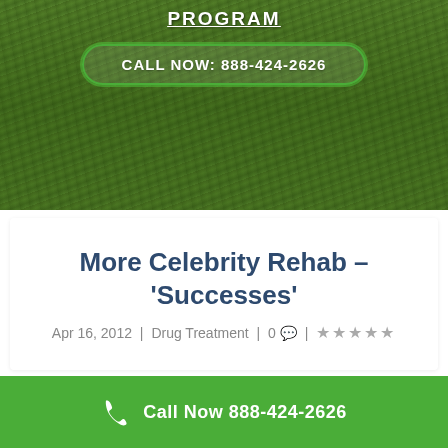[Figure (photo): Green grass lawn background image]
PROGRAM
CALL NOW: 888-424-2626
More Celebrity Rehab – 'Successes'
Apr 16, 2012 | Drug Treatment | 0 💬 | ★★★★★
Call Now 888-424-2626